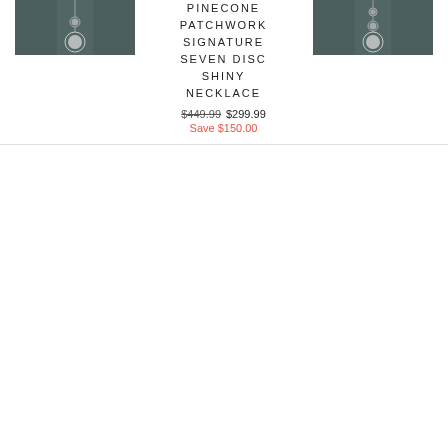[Figure (photo): Product photo of Pinecone Patchwork Signature Seven Disc Shiny Necklace on dark clothing]
PINECONE PATCHWORK SIGNATURE SEVEN DISC SHINY NECKLACE
$449.99  $299.99
Save $150.00
[Figure (photo): Product photo of Pinecone Patchwork Signature Seven Disc Satin Necklace on dark clothing]
PINECONE PATCHWORK SIGNATURE SEVEN DISC SATIN NECKLACE
$449.99  $299.99
Save $150.00
[Figure (photo): Partially visible product photo of Pinecone Patchwork Signature Shiny Large Necklace on dark clothing]
PINECONE PATCHWORK SIGNATURE SHINY LARGE NECKLACE (partial)
$449.99  (partial)
Save $...